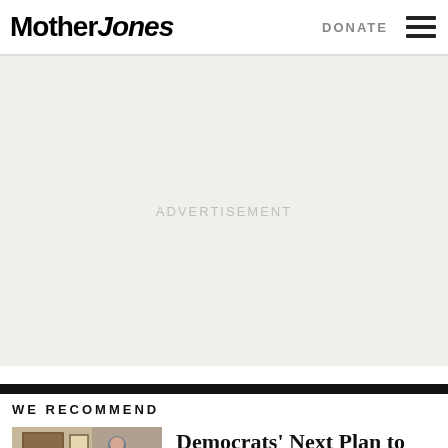Mother Jones | DONATE
[Figure (other): Advertisement placeholder area with light beige/gray background and centered 'ADVERTISEMENT' text]
WE RECOMMEND
[Figure (photo): Thumbnail photo of a person, used as article illustration]
Democrats' Next Plan to